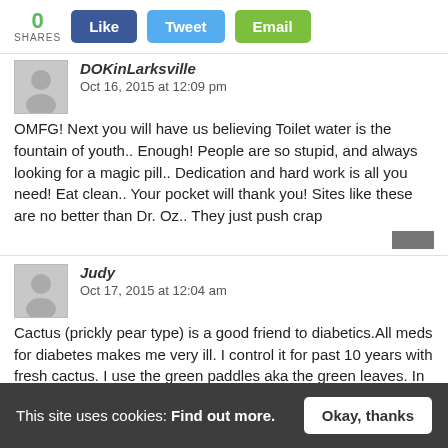[Figure (infographic): Share bar with '0 SHARES' count, Like, Tweet, and Email buttons]
DOKinLarksville
Oct 16, 2015 at 12:09 pm
OMFG! Next you will have us believing Toilet water is the fountain of youth.. Enough! People are so stupid, and always looking for a magic pill.. Dedication and hard work is all you need! Eat clean.. Your pocket will thank you! Sites like these are no better than Dr. Oz.. They just push crap
Judy
Oct 17, 2015 at 12:04 am
Cactus (prickly pear type) is a good friend to diabetics.All meds for diabetes makes me very ill. I control it for past 10 years with fresh cactus. I use the green paddles aka the green leaves. In Mexico...
This site uses cookies: Find out more.
Okay, thanks